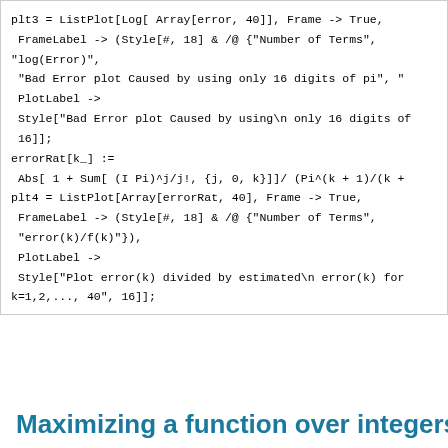plt3 = ListPlot[Log[ Array[error, 40]], Frame -> True,
 FrameLabel -> (Style[#, 18] & /@ {"Number of Terms",
"log(Error)",
 "Bad Error plot Caused by using only 16 digits of pi", "
 PlotLabel ->
 Style["Bad Error plot Caused by using\n only 16 digits of
 16]];
errorRat[k_] :=
 Abs[ 1 + Sum[ (I Pi)^j/j!, {j, 0, k}]]/ (Pi^(k + 1)/(k +
plt4 = ListPlot[Array[errorRat, 40], Frame -> True,
 FrameLabel -> (Style[#, 18] & /@ {"Number of Terms",
 "error(k)/f(k)"}),
 PlotLabel ->
 Style["Plot error(k) divided by estimated\n error(k) for
k=1,2,..., 40", 16]];
Maximizing a function over integers (Part 3